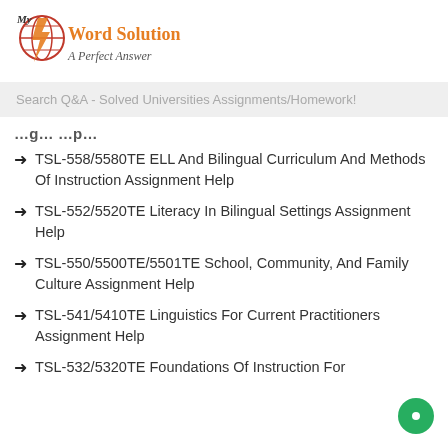[Figure (logo): MyWordSolution logo with orange lightning bolt globe and text 'Word Solution - A Perfect Answer']
Search Q&A - Solved Universities Assignments/Homework!
…g… …p…
TSL-558/5580TE ELL And Bilingual Curriculum And Methods Of Instruction Assignment Help
TSL-552/5520TE Literacy In Bilingual Settings Assignment Help
TSL-550/5500TE/5501TE School, Community, And Family Culture Assignment Help
TSL-541/5410TE Linguistics For Current Practitioners Assignment Help
TSL-532/5320TE Foundations Of Instruction For